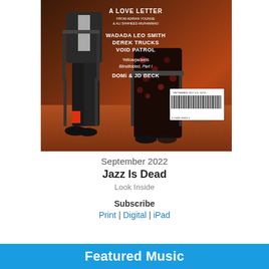[Figure (photo): Magazine cover of DownBeat September 2022 issue. Brown/orange toned cover showing two people seated, wearing stylish clothing. White text overlay reads: 'A LOVE LETTER FROM ADRIAN YOUNGE & ALI SHAHEED MUHAMMAD', 'WADADA LEO SMITH', 'DEREK TRUCKS', 'VOID PATROL', 'Yellowjackets Blindfolded, Part I', 'DOMi & JD BECK'. Barcode visible bottom right. 'DOWNBEAT.COM' text.]
September 2022
Jazz Is Dead
Look Inside
Subscribe
Print | Digital | iPad
Featured Music